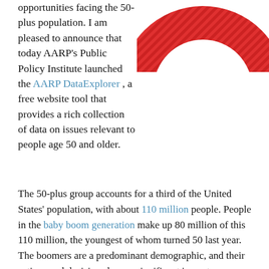[Figure (illustration): Partial view of the red AARP logo (donut/circle shape in red with diagonal stripe texture) visible in the top-right corner of the page, cropped.]
opportunities facing the 50-plus population. I am pleased to announce that today AARP's Public Policy Institute launched the AARP DataExplorer , a free website tool that provides a rich collection of data on issues relevant to people age 50 and older.
The 50-plus group accounts for a third of the United States' population, with about 110 million people. People in the baby boom generation make up 80 million of this 110 million, the youngest of whom turned 50 last year. The boomers are a predominant demographic, and their actions and decisions have a significant impact on our economy. Not surprisingly, both the private sector and state and federal governments are paying close attention